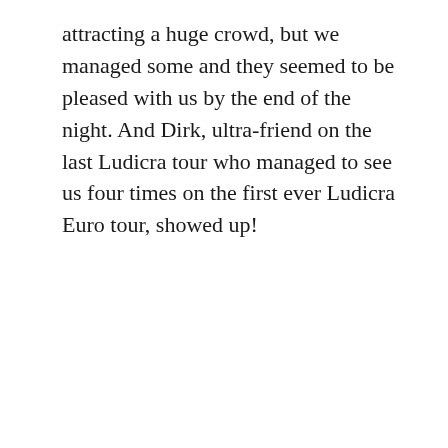attracting a huge crowd, but we managed some and they seemed to be pleased with us by the end of the night. And Dirk, ultra-friend on the last Ludicra tour who managed to see us four times on the first ever Ludicra Euro tour, showed up!
[Figure (photo): A broken/unloaded image placeholder shown as a small rectangle with a landscape image icon in the top-left corner]